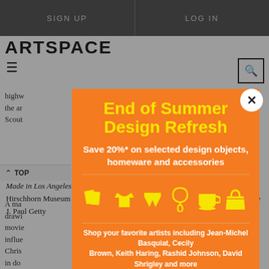SIGN UP    LOG IN
ARTSPACE
highw... the ar... Scout...
A ma... drawi... movie... influe... Chris... in do...
[Figure (screenshot): Advertisement modal overlay on Artspace website. Orange background modal with yellow title 'End of Summer Design Refresh', subtitle 'Save 20%* on selected design objects, homeware and accessories', yellow icons of design objects (books, t-shirt, shorts, necklace, cup, bag), body text 'Shop your favorite artists including Jean-Michel Basquiat, Cecily Brown, Keith Haring, Rashid Johnson, David Shrigley and more', a yellow 'SHOP NOW' button, and footnote '*Sale ends Tuesday September 6, 2022'. Close button (X) in top right corner.]
Made in Los Angeles at Madrid's Reina Sofia in 2002, a 2000 retrospective at the Hirschhorn Museum and Sculpture Garden, a survey of his works-on-paper at the J. Paul Getty